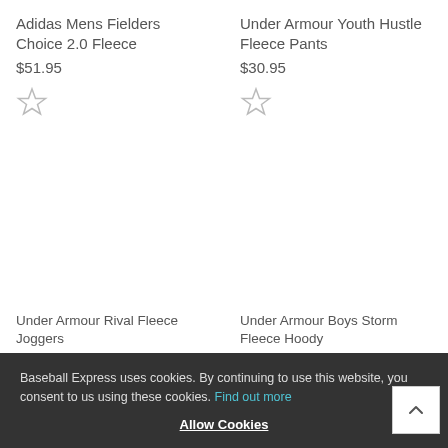Adidas Mens Fielders Choice 2.0 Fleece
$51.95
[Figure (illustration): Star icon (unfilled/outline) for wishlist]
Under Armour Youth Hustle Fleece Pants
$30.95
[Figure (illustration): Star icon (unfilled/outline) for wishlist]
Under Armour Rival Fleece Joggers
$27.95
Under Armour Boys Storm Fleece Hoody
$35.95
Baseball Express uses cookies. By continuing to use this website, you consent to us using these cookies. Find out more
Allow Cookies